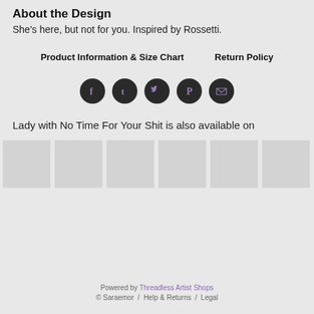About the Design
She's here, but not for you. Inspired by Rossetti.
Product Information & Size Chart    Return Policy
[Figure (infographic): Five social media share icons (Facebook, Tumblr, Twitter, Pinterest, Email) as dark circular buttons with purple-tinted icons]
Lady with No Time For Your Shit is also available on
[Figure (other): Six product thumbnail placeholder boxes in a row]
Powered by Threadless Artist Shops
© Saraemor  /  Help & Returns  /  Legal